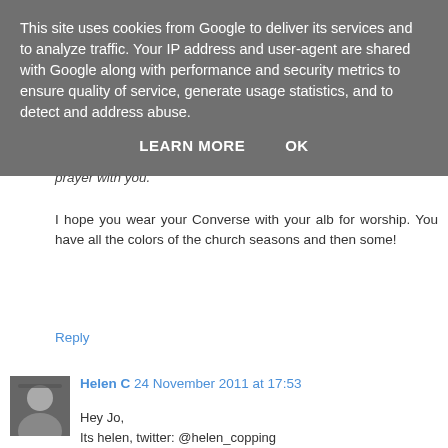This site uses cookies from Google to deliver its services and to analyze traffic. Your IP address and user-agent are shared with Google along with performance and security metrics to ensure quality of service, generate usage statistics, and to detect and address abuse.
LEARN MORE    OK
prayer with you.
I hope you wear your Converse with your alb for worship. You have all the colors of the church seasons and then some!
Reply
Helen C  24 November 2011 at 17:53
Hey Jo,
Its helen, twitter: @helen_copping
Here's my blog: http://committedtothejourney.blogspot.com/